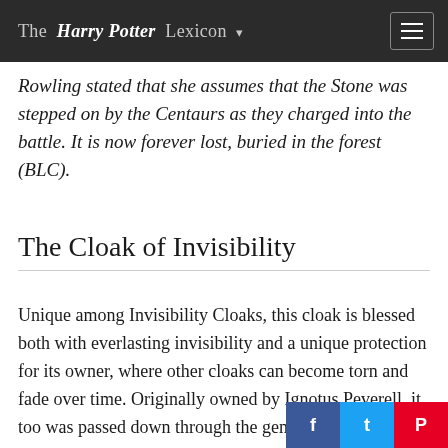The Harry Potter Lexicon
Rowling stated that she assumes that the Stone was stepped on by the Centaurs as they charged into the battle. It is now forever lost, buried in the forest (BLC).
The Cloak of Invisibility
Unique among Invisibility Cloaks, this cloak is blessed both with everlasting invisibility and a unique protection for its owner, where other cloaks can become torn and fade over time. Originally owned by Ignotus Peverell, it too was passed down through the generations, ev